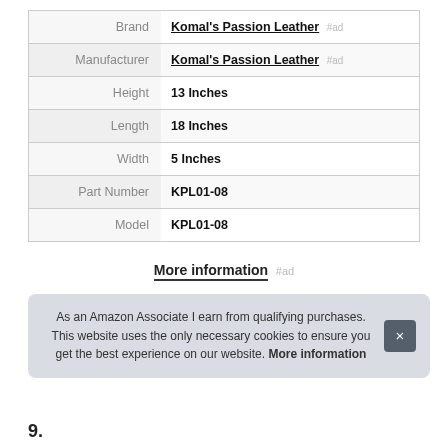|  |  |
| --- | --- |
| Brand | Komal's Passion Leather #ad |
| Manufacturer | Komal's Passion Leather #ad |
| Height | 13 Inches |
| Length | 18 Inches |
| Width | 5 Inches |
| Part Number | KPL01-08 |
| Model | KPL01-08 |
More information #ad
As an Amazon Associate I earn from qualifying purchases. This website uses the only necessary cookies to ensure you get the best experience on our website. More information
9.